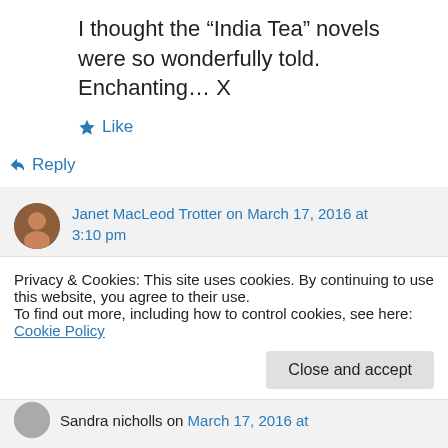I thought the “India Tea” novels were so wonderfully told. Enchanting… X
★ Like
↳ Reply
Janet MacLeod Trotter on March 17, 2016 at 3:10 pm
Thank you Angie – there will be a new one out at the end of the year 🙂
Privacy & Cookies: This site uses cookies. By continuing to use this website, you agree to their use.
To find out more, including how to control cookies, see here: Cookie Policy
Close and accept
Sandra nicholls on March 17, 2016 at